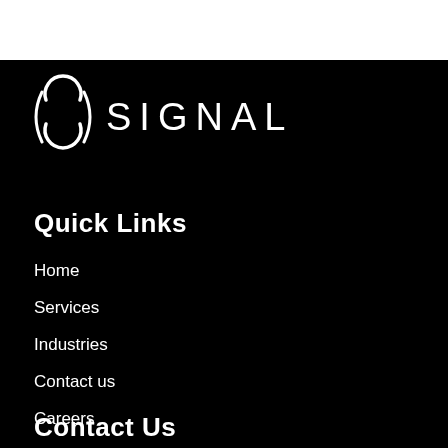[Figure (logo): 8 Signal logo with circular infinity-like symbol and the word SIGNAL in spaced capital letters]
Quick Links
Home
Services
Industries
Contact us
Careers
Contact Us